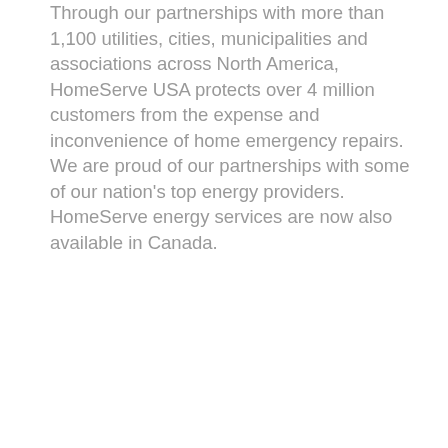Through our partnerships with more than 1,100 utilities, cities, municipalities and associations across North America, HomeServe USA protects over 4 million customers from the expense and inconvenience of home emergency repairs. We are proud of our partnerships with some of our nation's top energy providers. HomeServe energy services are now also available in Canada.